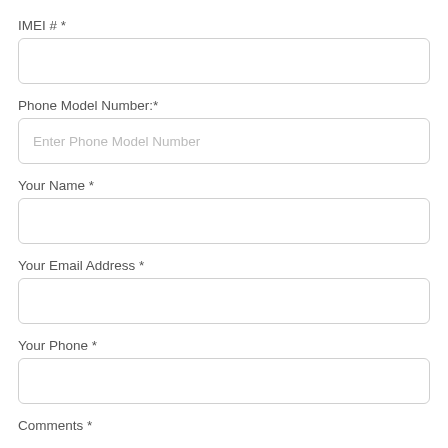IMEI # *
[Figure (other): Empty text input field for IMEI #]
Phone Model Number:*
[Figure (other): Text input field with placeholder 'Enter Phone Model Number']
Your Name *
[Figure (other): Empty text input field for Your Name]
Your Email Address *
[Figure (other): Empty text input field for Your Email Address]
Your Phone *
[Figure (other): Empty text input field for Your Phone]
Comments *